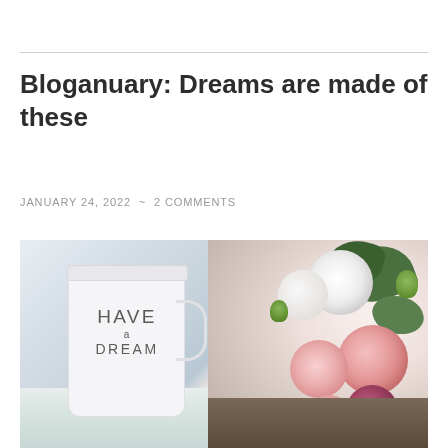Bloganuary: Dreams are made of these
JANUARY 24, 2022 ~ 2 COMMENTS
[Figure (photo): A white mug with 'HAVE a DREAM' text next to a bouquet of pink and white roses on a dark wooden surface with white fabric]